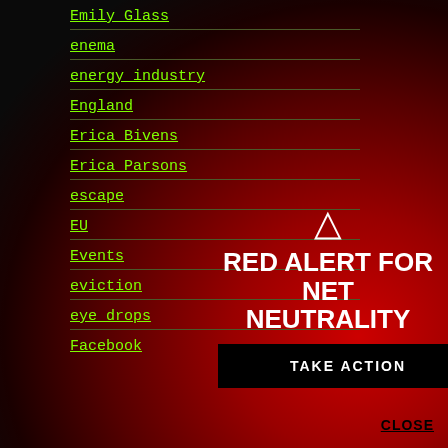Emily Glass
enema
energy industry
England
Erica Bivens
Erica Parsons
escape
EU
Events
eviction
eye drops
Facebook
[Figure (infographic): Red Alert for Net Neutrality overlay with warning triangle, bold white text reading RED ALERT FOR NET NEUTRALITY, and a black TAKE ACTION button, on a red gradient background]
CLOSE